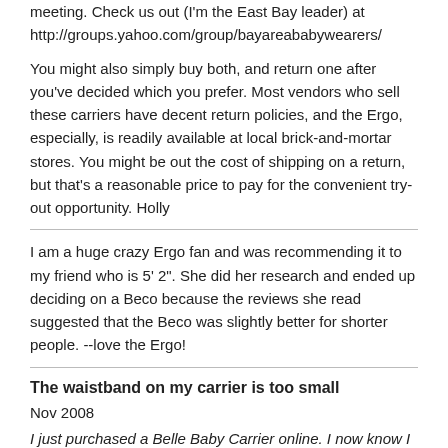meeting. Check us out (I'm the East Bay leader) at http://groups.yahoo.com/group/bayareababywearers/
You might also simply buy both, and return one after you've decided which you prefer. Most vendors who sell these carriers have decent return policies, and the Ergo, especially, is readily available at local brick-and-mortar stores. You might be out the cost of shipping on a return, but that's a reasonable price to pay for the convenient try-out opportunity. Holly
I am a huge crazy Ergo fan and was recommending it to my friend who is 5' 2". She did her research and ended up deciding on a Beco because the reviews she read suggested that the Beco was slightly better for shorter people. --love the Ergo!
The waistband on my carrier is too small
Nov 2008
I just purchased a Belle Baby Carrier online. I now know I should have tried to find one in a store, since the waist band is